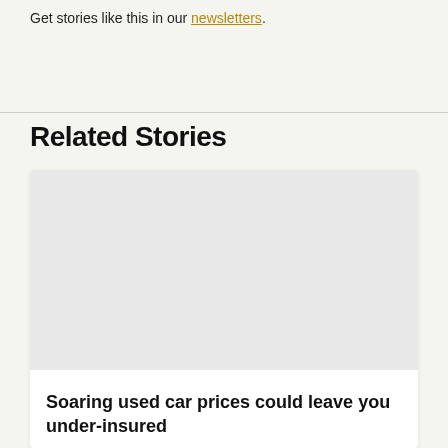Get stories like this in our newsletters.
Related Stories
[Figure (photo): White rectangular card placeholder image area, light gray background]
Soaring used car prices could leave you under-insured